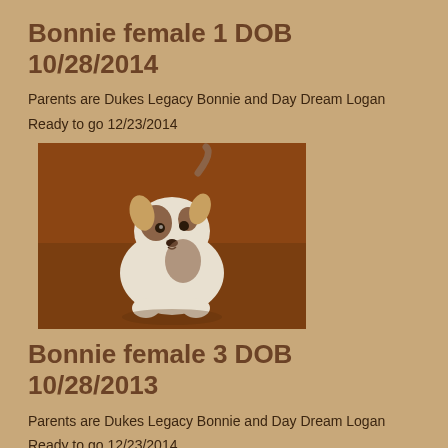Bonnie female 1 DOB 10/28/2014
Parents are Dukes Legacy Bonnie and Day Dream Logan
Ready to go 12/23/2014
[Figure (photo): A small puppy (Jack Russell type) standing on a brown/reddish floor, white and brown coloring, facing the camera.]
Bonnie female 3 DOB 10/28/2013
Parents are Dukes Legacy Bonnie and Day Dream Logan
Ready to go 12/23/2014
[Figure (photo): Partial view of a puppy at the bottom of the page, mostly white coloring.]